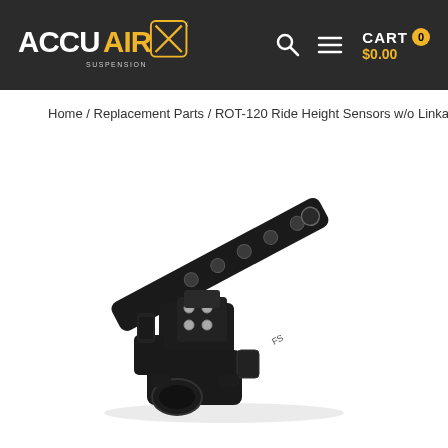AccuAir Suspension — CART 0 $0.00
Home / Replacement Parts / ROT-120 Ride Height Sensors w/o Linkage & Hardware
[Figure (photo): ROT-120 ride height sensor product photo — black angular sensor body with arm bracket extending upper right, showing mounting holes and connector port]